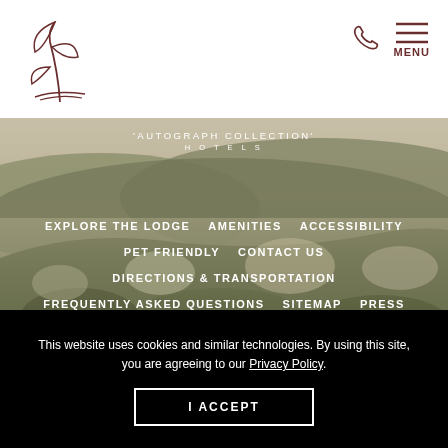[Figure (logo): Leaf/botanical line art logo in brown]
[Figure (illustration): Phone icon in dark red/brown]
[Figure (illustration): Hamburger menu icon with MENU label in dark red/brown]
[Figure (photo): Misty rolling countryside landscape with fog over hills and vegetation, olive/sage tones]
AUTOGRAPH COLLECTION HOTELS
EXPLORE THE LODGE
AMENITIES
ACCESSIBILITY
PET FRIENDLY
CONTACT US
DIRECTIONS & TRANSPORTATION
FREQUENTLY ASKED QUESTIONS
SITEMAP
PRESS
This website uses cookies and similar technologies. By using this site, you are agreeing to our Privacy Policy.
I ACCEPT